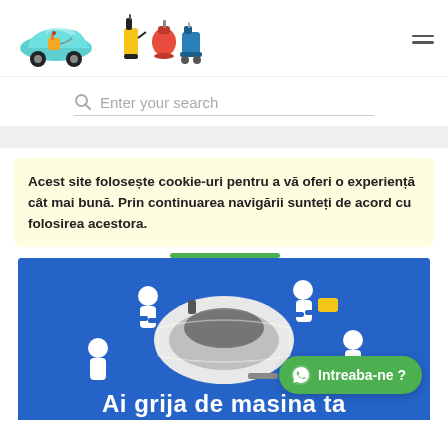[Figure (logo): Car washing service logo with teal car silhouette and cleaning equipment (pressure washer, vacuum, steam cleaner)]
Enter your search
Acest site folosește cookie-uri pentru a vă oferi o experiență cât mai bună. Prin continuarea navigării sunteți de acord cu folosirea acestora.
[Figure (photo): Top-down view of a white car being cleaned by workers in blue, on a bright blue background. Text at bottom: Ai grija de masina ta]
Intreaba-ne ?